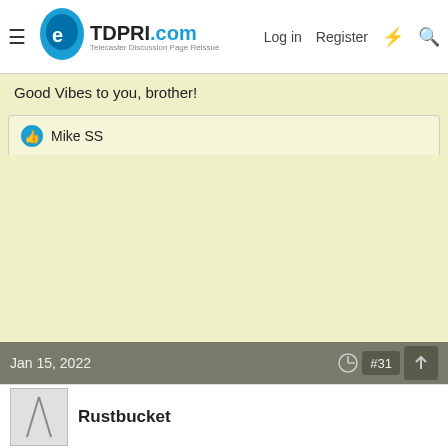TDPRI.com — Telecaster Discussion Page Reissue | Log in | Register
Good Vibes to you, brother!
👍 Mike SS
Jan 15, 2022  #31
Rustbucket